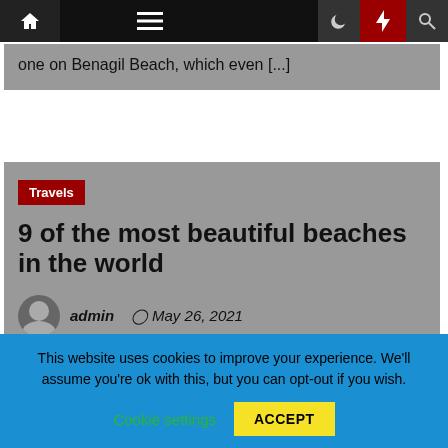Navigation bar with home, menu, moon, bolt, and search icons
one on Benagil Beach, which even [...]
Travels
9 of the most beautiful beaches in the world
admin  May 26, 2021
This website uses cookies to improve your experience. We'll assume you're ok with this, but you can opt-out if you wish.
Cookie settings   ACCEPT